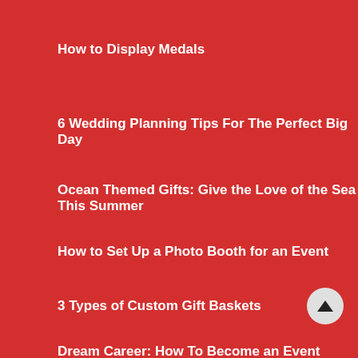How to Display Medals
6 Wedding Planning Tips For The Perfect Big Day
Ocean Themed Gifts: Give the Love of the Sea This Summer
How to Set Up a Photo Booth for an Event
3 Types of Custom Gift Baskets
Dream Career: How To Become an Event Planner